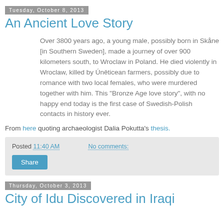Tuesday, October 8, 2013
An Ancient Love Story
Over 3800 years ago, a young male, possibly born in Skåne [in Southern Sweden], made a journey of over 900 kilometers south, to Wroclaw in Poland. He died violently in Wroclaw, killed by Úněticean farmers, possibly due to romance with two local females, who were murdered together with him. This "Bronze Age love story", with no happy end today is the first case of Swedish-Polish contacts in history ever.
From here quoting archaeologist Dalia Pokutta's thesis.
Posted 11:40 AM    No comments:
Share
Thursday, October 3, 2013
City of Idu Discovered in Iraqi